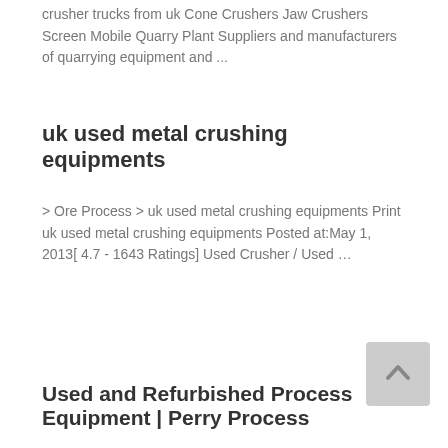crusher trucks from uk Cone Crushers Jaw Crushers Screen Mobile Quarry Plant Suppliers and manufacturers of quarrying equipment and ...
uk used metal crushing equipments
> Ore Process > uk used metal crushing equipments Print uk used metal crushing equipments Posted at:May 1, 2013[ 4.7 - 1643 Ratings] Used Crusher / Used …
Used and Refurbished Process Equipment | Perry Process